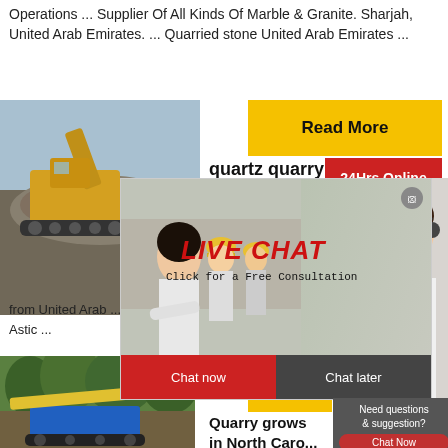Operations ... Supplier Of All Kinds Of Marble & Granite. Sharjah, United Arab Emirates. ... Quarried stone United Arab Emirates ...
[Figure (photo): Yellow construction/quarry machine with rocks in background]
[Figure (photo): Yellow Read More button]
quartz quarry supplier
[Figure (infographic): 24Hrs Online red banner]
[Figure (photo): Live Chat popup overlay with workers in hard hats on left and customer service woman with headset on right, with LIVE CHAT text and Chat now/Chat later buttons]
from United Arab ... supplier uae ... Astic ...
[Figure (infographic): Need questions & suggestion panel with Chat Now button, Enquiry and limingjlmofen links]
[Figure (photo): Blue and yellow quarry machine in green forest setting]
[Figure (photo): Yellow Read More button]
Quarry grows in North Caro...